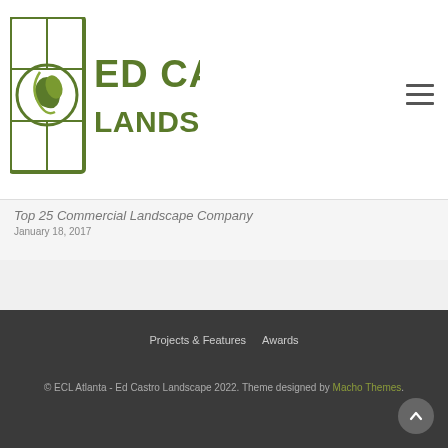[Figure (logo): Ed Castro Landscape logo with green icon and green text]
Top 25 Commercial Landscape Company
January 18, 2017
Projects & Features   Awards
© ECL Atlanta - Ed Castro Landscape 2022. Theme designed by Macho Themes.